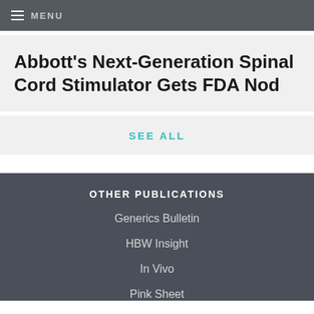MENU
Abbott's Next-Generation Spinal Cord Stimulator Gets FDA Nod
SEE ALL
OTHER PUBLICATIONS
Generics Bulletin
HBW Insight
In Vivo
Pink Sheet